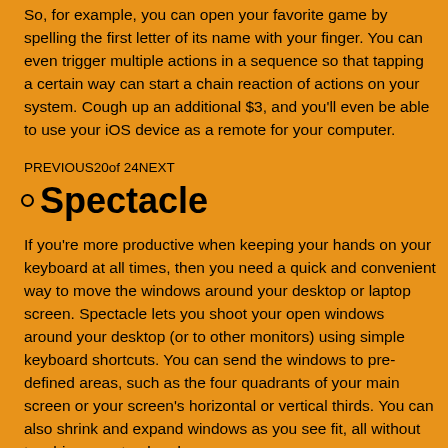So, for example, you can open your favorite game by spelling the first letter of its name with your finger. You can even trigger multiple actions in a sequence so that tapping a certain way can start a chain reaction of actions on your system. Cough up an additional $3, and you'll even be able to use your iOS device as a remote for your computer.
PREVIOUS20of 24NEXT
Spectacle
If you're more productive when keeping your hands on your keyboard at all times, then you need a quick and convenient way to move the windows around your desktop or laptop screen. Spectacle lets you shoot your open windows around your desktop (or to other monitors) using simple keyboard shortcuts. You can send the windows to pre-defined areas, such as the four quadrants of your main screen or your screen's horizontal or vertical thirds. You can also shrink and expand windows as you see fit, all without touching your trackpad or mouse.